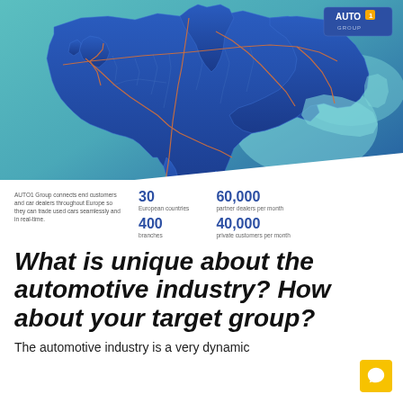[Figure (map): Map of Europe overlaid on a teal/light-blue background, showing European countries in dark blue with orange route lines connecting major cities/regions. AUTO1 Group logo in top-right corner.]
AUTO1 Group connects end customers and car dealers throughout Europe so they can trade used cars seamlessly and in real-time.
30 European countries
60,000 partner dealers per month
400 branches
40,000 private customers per month
What is unique about the automotive industry? How about your target group?
The automotive industry is a very dynamic